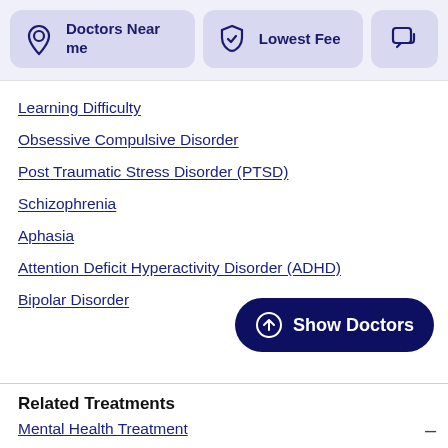[Figure (screenshot): Filter bar with 'Doctors Near me' button (location icon), 'Lowest Fee' button (shield icon), and a partially visible chat icon button]
Learning Difficulty
Obsessive Compulsive Disorder
Post Traumatic Stress Disorder (PTSD)
Schizophrenia
Aphasia
Attention Deficit Hyperactivity Disorder (ADHD)
Bipolar Disorder
[Figure (other): Show Doctors button — dark navy pill-shaped button with up-arrow circle icon and text 'Show Doctors']
Related Treatments
Mental Health Treatment